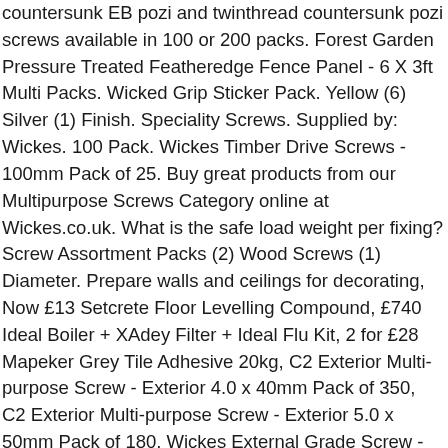countersunk EB pozi and twinthread countersunk pozi screws available in 100 or 200 packs. Forest Garden Pressure Treated Featheredge Fence Panel - 6 X 3ft Multi Packs. Wicked Grip Sticker Pack. Yellow (6) Silver (1) Finish. Speciality Screws. Supplied by: Wickes. 100 Pack. Wickes Timber Drive Screws - 100mm Pack of 25. Buy great products from our Multipurpose Screws Category online at Wickes.co.uk. What is the safe load weight per fixing? Screw Assortment Packs (2) Wood Screws (1) Diameter. Prepare walls and ceilings for decorating, Now £13 Setcrete Floor Levelling Compound, £740 Ideal Boiler + XAdey Filter + Ideal Flu Kit, 2 for £28 Mapeker Grey Tile Adhesive 20kg, C2 Exterior Multi-purpose Screw - Exterior 4.0 x 40mm Pack of 350, C2 Exterior Multi-purpose Screw - Exterior 5.0 x 50mm Pack of 180, Wickes External Grade Screw - Green No 8 x 19mm Pack of 25, Wickes External Grade Screw - Green No 6 x 19mm Pack of 30, Wickes